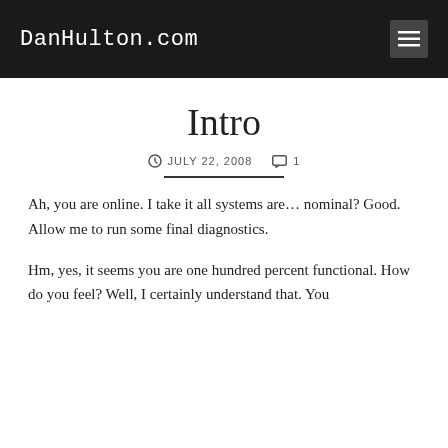DanHulton.com
Intro
JULY 22, 2008   1
Ah, you are online. I take it all systems are… nominal? Good. Allow me to run some final diagnostics.
Hm, yes, it seems you are one hundred percent functional. How do you feel? Well, I certainly understand that. You